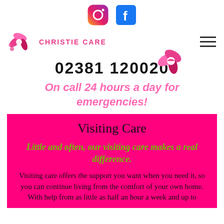[Figure (logo): Instagram and Facebook social media icons at top center]
[Figure (logo): Christie Care brand logo with pink flower graphic and brand name text]
02381 120020
On call 24 hours a day for emergencies!
Visiting Care
Little and often, our visiting care makes a real difference.
Visiting care offers the support you want when you need it, so you can continue living from the comfort of your own home. With help from as little as half an hour a week and up to